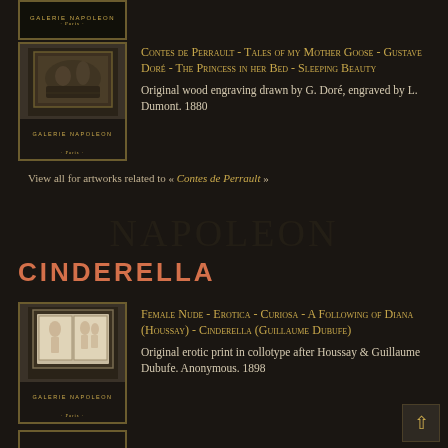[Figure (photo): Galerie Napoleon Paris logo/header, dark background with gold text, top cropped card]
[Figure (photo): Galerie Napoleon Paris thumbnail image of a classical engraving scene, framed, dark background]
Contes de Perrault - Tales of my Mother Goose - Gustave Doré - The Princess in her Bed - Sleeping Beauty
Original wood engraving drawn by G. Doré, engraved by L. Dumont. 1880
View all for artworks related to « Contes de Perrault »
CINDERELLA
[Figure (photo): Galerie Napoleon Paris thumbnail showing two classical erotic prints, framed]
Female Nude - Erotica - Curiosa - A Following of Diana (Houssay) - Cinderella (Guillaume Dubufe)
Original erotic print in collotype after Houssay & Guillaume Dubufe. Anonymous. 1898